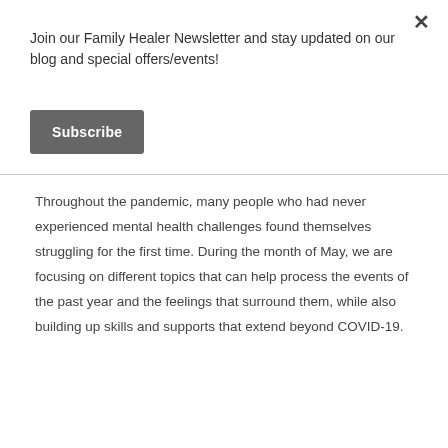Join our Family Healer Newsletter and stay updated on our blog and special offers/events!
Subscribe
Throughout the pandemic, many people who had never experienced mental health challenges found themselves struggling for the first time. During the month of May, we are focusing on different topics that can help process the events of the past year and the feelings that surround them, while also building up skills and supports that extend beyond COVID-19.